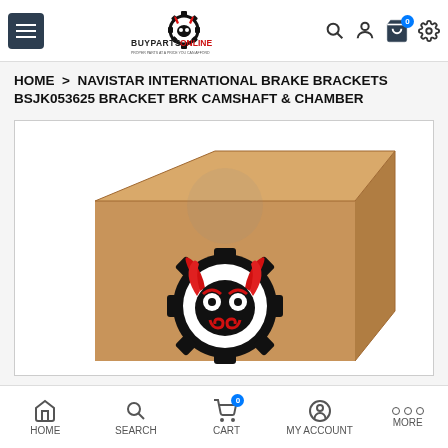BUYPARTS.ONLINE - navigation header
HOME > NAVISTAR INTERNATIONAL BRAKE BRACKETS BSJK053625 BRACKET BRK CAMSHAFT & CHAMBER
[Figure (photo): Product photo showing a cardboard box with BUYPARTS.ONLINE logo (devil skull in gear with red horns) printed on it, on a white background]
HOME | SEARCH | CART | MY ACCOUNT | MORE